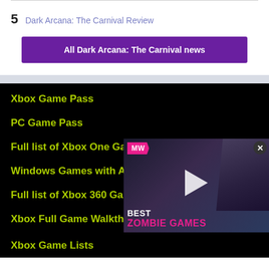5   Dark Arcana: The Carnival Review
All Dark Arcana: The Carnival news
Xbox Game Pass
PC Game Pass
Full list of Xbox One Games
Windows Games with Achievements
Full list of Xbox 360 Games
Xbox Full Game Walkthroughs
Xbox Game Lists
[Figure (screenshot): Video thumbnail for 'Best Zombie Games' with MW (Meli Vornal) logo, play button, and character portrait]